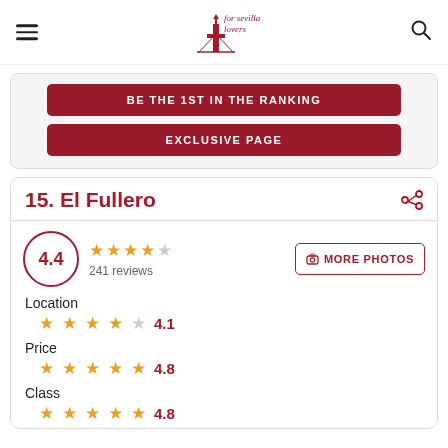for sevilla lovers (logo)
BE THE 1ST IN THE RANKING
EXCLUSIVE PAGE
15. El Fullero
[Figure (other): Rating circle showing 4.4, 4.5 gold stars (4.5 out of 5), 241 reviews, and a MORE PHOTOS button]
Location
[Figure (other): 4 gold stars and 1 gray star showing 4.1 rating for Location]
Price
[Figure (other): 5 gold stars showing 4.8 rating for Price]
Class
[Figure (other): 5 gold stars showing 4.8 rating for Class]